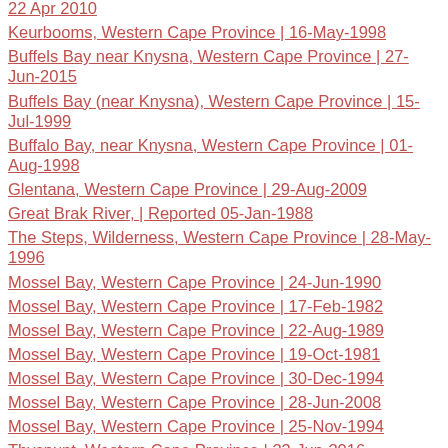22 Apr 2010 (partial, top cut off)
Keurbooms, Western Cape Province | 16-May-1998
Buffels Bay near Knysna, Western Cape Province | 27-Jun-2015
Buffels Bay (near Knysna), Western Cape Province | 15-Jul-1999
Buffalo Bay, near Knysna, Western Cape Province | 01-Aug-1998
Glentana, Western Cape Province | 29-Aug-2009
Great Brak River, | Reported 05-Jan-1988
The Steps, Wilderness, Western Cape Province | 28-May-1996
Mossel Bay, Western Cape Province | 24-Jun-1990
Mossel Bay, Western Cape Province | 17-Feb-1982
Mossel Bay, Western Cape Province | 22-Aug-1989
Mossel Bay, Western Cape Province | 19-Oct-1981
Mossel Bay, Western Cape Province | 30-Dec-1994
Mossel Bay, Western Cape Province | 28-Jun-2008
Mossel Bay, Western Cape Province | 25-Nov-1994
Thyspunt, Western Cape Province | 23-Jun-2016